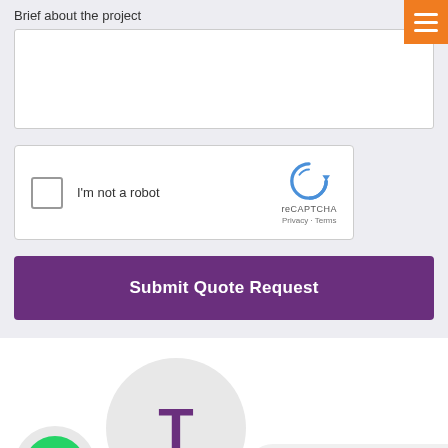Brief about the project
[Figure (screenshot): reCAPTCHA widget with checkbox labeled 'I'm not a robot']
Submit Quote Request
[Figure (infographic): WhatsApp circle icon on left, large T avatar circle in center, icon bar with chat/phone/home/email/up-arrow icons below]
Sign Solutions has been our #Go-To source for all of